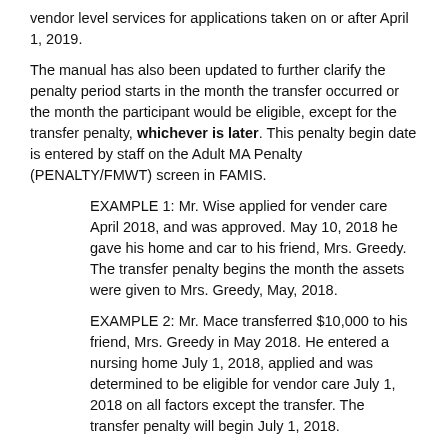vendor level services for applications taken on or after April 1, 2019.
The manual has also been updated to further clarify the penalty period starts in the month the transfer occurred or the month the participant would be eligible, except for the transfer penalty, whichever is later.  This penalty begin date is entered by staff on the Adult MA Penalty (PENALTY/FMWT) screen in FAMIS.
EXAMPLE 1:  Mr. Wise applied for vender care April 2018, and was approved.   May 10, 2018 he gave his home and car to his friend, Mrs. Greedy.  The transfer penalty begins the month the assets were given to Mrs. Greedy, May, 2018.
EXAMPLE 2: Mr. Mace transferred $10,000 to his friend, Mrs. Greedy in May 2018.  He entered a nursing home July 1, 2018, applied and was determined to be eligible for vendor care July 1, 2018 on all factors except the transfer.  The transfer penalty will begin July 1, 2018.
NECESSARY ACTION:
Review this memorandum with appropriate staff.